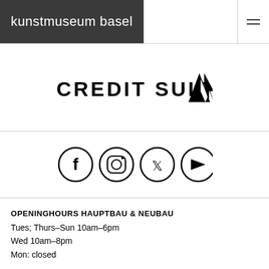kunstmuseum basel
[Figure (logo): Credit Suisse logo with wordmark and sail/arrow icon]
[Figure (other): Social media icons: Facebook, Instagram, Twitter, YouTube — circular outlined icons]
OPENINGHOURS HAUPTBAU & NEUBAU
Tues; Thurs-Sun 10am-6pm
Wed 10am-8pm
Mon: closed